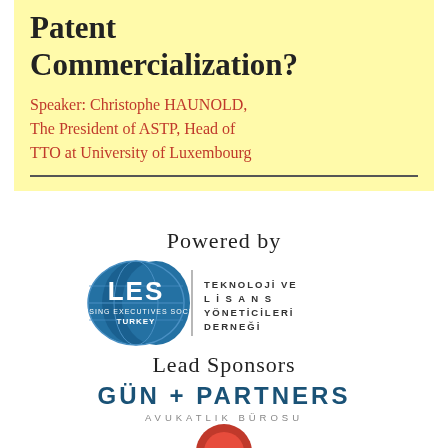Patent Commercialization?
Speaker: Christophe HAUNOLD, The President of ASTP, Head of TTO at University of Luxembourg
Powered by
[Figure (logo): LES Turkey logo - Licensing Executives Society Turkey with Turkish text: Teknoloji ve Lisans Yöneticileri Derneği]
Lead Sponsors
[Figure (logo): Gün + Partners Avukatlık Bürosu law firm logo]
[Figure (logo): Partial logo at bottom of page, partially cropped]